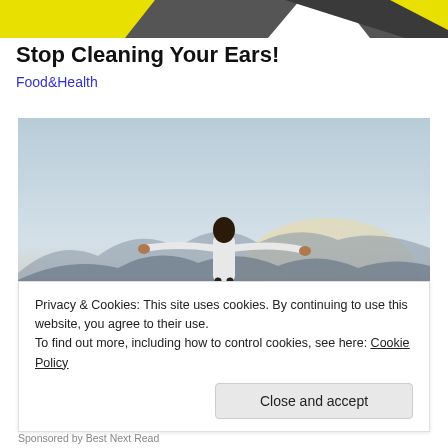[Figure (illustration): Top decorative banner with yellow and dark gray geometric shapes on a white background]
Stop Cleaning Your Ears!
Food&Health
[Figure (photo): A person in a white long-sleeve shirt and dark pants standing on a hilltop with arms outstretched wide against a hazy sky and mountain backdrop]
Privacy & Cookies: This site uses cookies. By continuing to use this website, you agree to their use.
To find out more, including how to control cookies, see here: Cookie Policy
Close and accept
Sponsored by Best Next Read